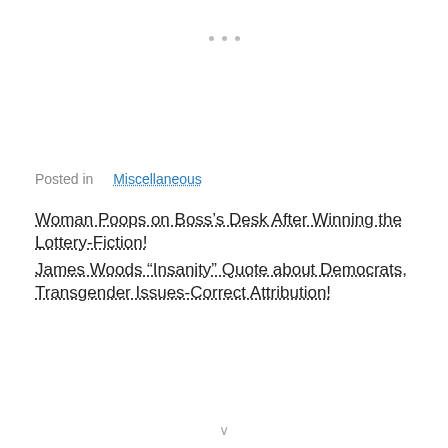[Figure (other): Three small dots centered at the top of the page]
Posted in  Miscellaneous
Woman Poops on Boss’s Desk After Winning the Lottery-Fiction!
James Woods “Insanity” Quote about Democrats, Transgender Issues-Correct Attribution!